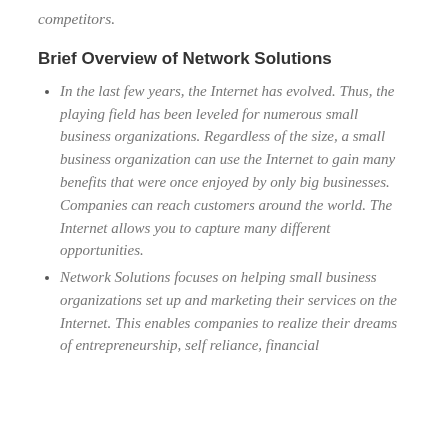competitors.
Brief Overview of Network Solutions
In the last few years, the Internet has evolved. Thus, the playing field has been leveled for numerous small business organizations. Regardless of the size, a small business organization can use the Internet to gain many benefits that were once enjoyed by only big businesses. Companies can reach customers around the world. The Internet allows you to capture many different opportunities.
Network Solutions focuses on helping small business organizations set up and marketing their services on the Internet. This enables companies to realize their dreams of entrepreneurship, self reliance, financial